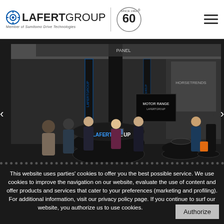LAFERTGROUP — Member of Sumitomo Drive Technologies | Since 1962 (60th anniversary logo)
[Figure (photo): Trade show exhibition booth for Lafert Group. A large dark circular reception desk with 'LAFERTGROUP' written on it in blue and white. Multiple attendees and staff visible, vertical banners in background, other exhibitors visible in the distance.]
This website uses parties' cookies to offer you the best possible service. We use cookies to improve the navigation on our website, evaluate the use of content and offer products and services that cater to your preferences (marketing and profiling). For additional information, visit our privacy policy page. If you continue to surf our website, you authorize us to use cookies.
Authorize